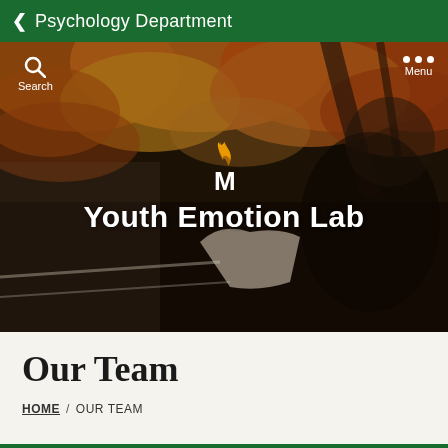Psychology Department
[Figure (photo): Hero banner showing a young woman reading a book/newspaper outside with autumn orange and red foliage in the background. Overlay includes Mason M logo and 'Youth Emotion Lab' text. Navigation icons for Search and Menu are in the corners.]
Our Team
HOME / OUR TEAM